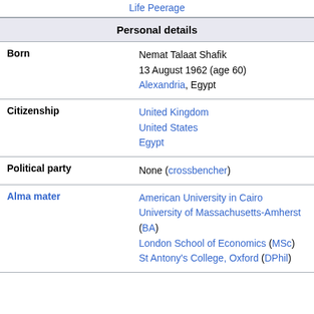Life Peerage
| Personal details |  |
| --- | --- |
| Born | Nemat Talaat Shafik
13 August 1962 (age 60)
Alexandria, Egypt |
| Citizenship | United Kingdom
United States
Egypt |
| Political party | None (crossbencher) |
| Alma mater | American University in Cairo
University of Massachusetts-Amherst (BA)
London School of Economics (MSc)
St Antony's College, Oxford (DPhil) |